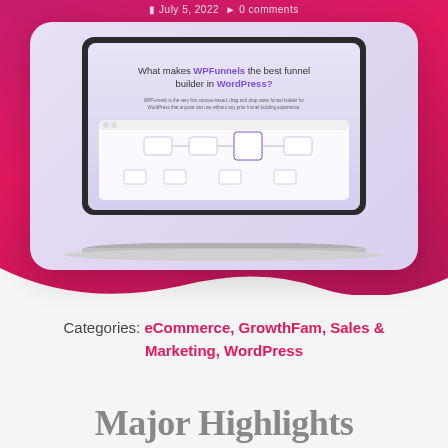July 5, 2022 · 0 comments
[Figure (screenshot): Laptop screenshot showing WPFunnels funnel builder interface inside a rounded card on a pink/magenta gradient background. The screen shows 'What makes WPFunnels the best funnel builder in WordPress?' heading in purple/dark text with a drag-and-drop funnel builder canvas.]
Categories: eCommerce, GrowthFam, Sales & Marketing, WordPress
Major Highlights